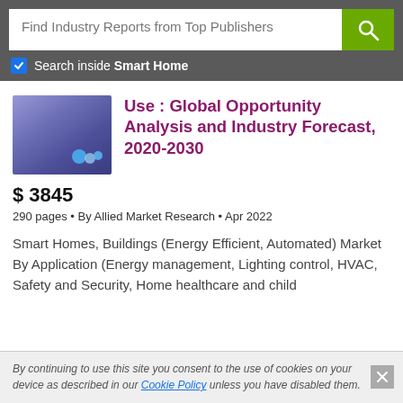Find Industry Reports from Top Publishers
Search inside Smart Home
[Figure (illustration): Report cover thumbnail with blue/purple gradient background and small molecule/bubbles icon]
Use : Global Opportunity Analysis and Industry Forecast, 2020-2030
$ 3845
290 pages • By Allied Market Research • Apr 2022
Smart Homes, Buildings (Energy Efficient, Automated) Market By Application (Energy management, Lighting control, HVAC, Safety and Security, Home healthcare and child
By continuing to use this site you consent to the use of cookies on your device as described in our Cookie Policy unless you have disabled them.